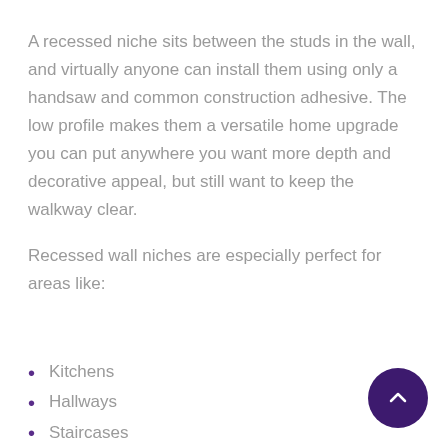A recessed niche sits between the studs in the wall, and virtually anyone can install them using only a handsaw and common construction adhesive. The low profile makes them a versatile home upgrade you can put anywhere you want more depth and decorative appeal, but still want to keep the walkway clear.
Recessed wall niches are especially perfect for areas like:
Kitchens
Hallways
Staircases
Bathrooms